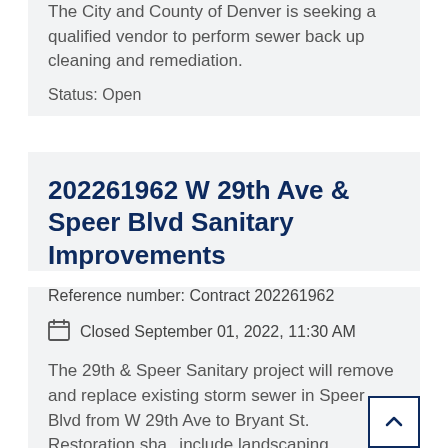The City and County of Denver is seeking a qualified vendor to perform sewer back up cleaning and remediation.
Status: Open
202261962 W 29th Ave & Speer Blvd Sanitary Improvements
Reference number: Contract 202261962
Closed September 01, 2022, 11:30 AM
The 29th & Speer Sanitary project will remove and replace existing storm sewer in Speer Blvd from W 29th Ave to Bryant St. Restoration shall include landscaping, concrete flatwork and asphalt paving. Non-ADA compliant accessible